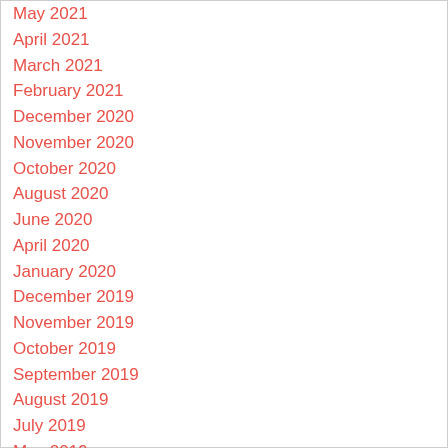May 2021
April 2021
March 2021
February 2021
December 2020
November 2020
October 2020
August 2020
June 2020
April 2020
January 2020
December 2019
November 2019
October 2019
September 2019
August 2019
July 2019
May 2019
April 2019
March 2019
February 2019
January 2019